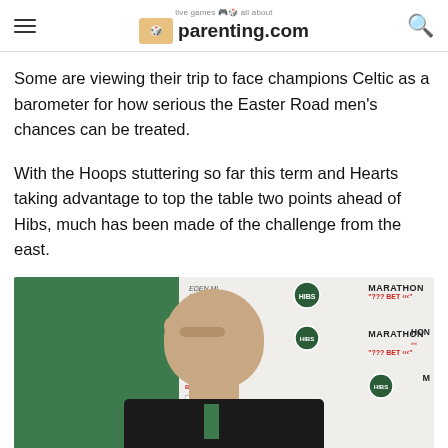parenting.com
Some are viewing their trip to face champions Celtic as a barometer for how serious the Easter Road men's chances can be treated.
With the Hoops stuttering so far this term and Hearts taking advantage to top the table two points ahead of Hibs, much has been made of the challenge from the east.
[Figure (photo): A man in a Hibernian FC jacket sitting at a press conference desk with Marathon Bet and Hibernian FC branding in the background]